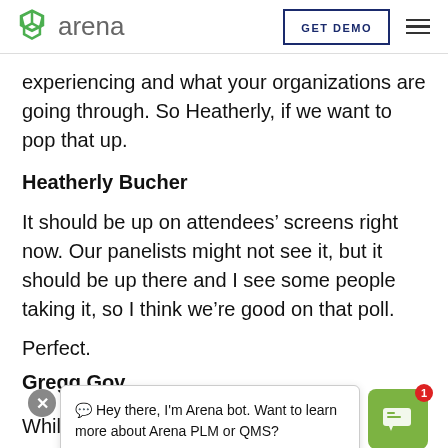arena | GET DEMO
experiencing and what your organizations are going through. So Heatherly, if we want to pop that up.
Heatherly Bucher
It should be up on attendees’ screens right now. Our panelists might not see it, but it should be up there and I see some people taking it, so I think we’re good on that poll.
Perfect.
Gregg Gov
While we’re
[Figure (screenshot): Arena chatbot popup bubble saying 'Hey there, I'm Arena bot. Want to learn more about Arena PLM or QMS?' with a close button and a green chat icon with notification badge showing 1]